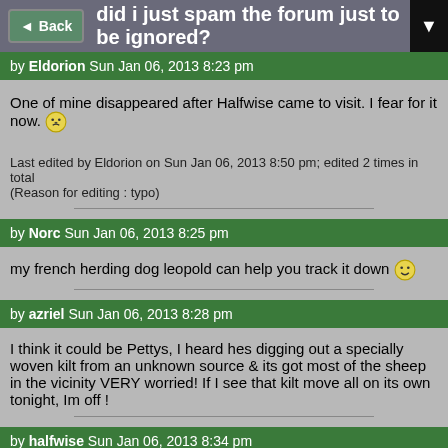did i just spam the forum just to be ignored?
by Eldorion Sun Jan 06, 2013 8:23 pm
One of mine disappeared after Halfwise came to visit. I fear for it now.
Last edited by Eldorion on Sun Jan 06, 2013 8:50 pm; edited 2 times in total
(Reason for editing : typo)
by Norc Sun Jan 06, 2013 8:25 pm
my french herding dog leopold can help you track it down
by azriel Sun Jan 06, 2013 8:28 pm
I think it could be Pettys, I heard hes digging out a specially woven kilt from an unknown source & its got most of the sheep in the vicinity VERY worried! If I see that kilt move all on its own tonight, Im off !
by halfwise Sun Jan 06, 2013 8:34 pm